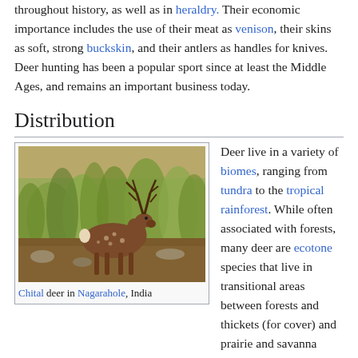throughout history, as well as in heraldry. Their economic importance includes the use of their meat as venison, their skins as soft, strong buckskin, and their antlers as handles for knives. Deer hunting has been a popular sport since at least the Middle Ages, and remains an important business today.
Distribution
[Figure (photo): A chital deer standing in grassland in Nagarahole, India]
Chital deer in Nagarahole, India
Deer live in a variety of biomes, ranging from tundra to the tropical rainforest. While often associated with forests, many deer are ecotone species that live in transitional areas between forests and thickets (for cover) and prairie and savanna (open space). The majority of large deer species inhabit temperate mixed deciduous forest, mountain mixed coniferous forest, tropical seasonal/dry forest, and savanna habitats around